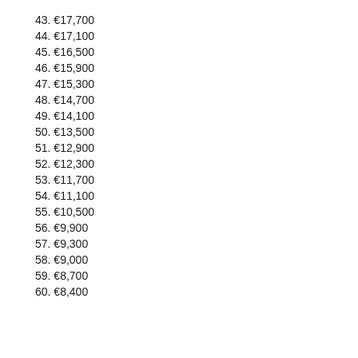43. €17,700
44. €17,100
45. €16,500
46. €15,900
47. €15,300
48. €14,700
49. €14,100
50. €13,500
51. €12,900
52. €12,300
53. €11,700
54. €11,100
55. €10,500
56. €9,900
57. €9,300
58. €9,000
59. €8,700
60. €8,400